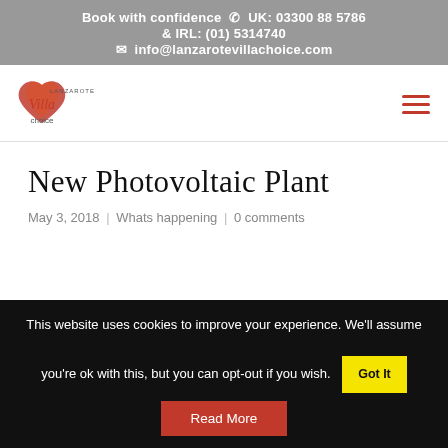Book with confidence ☎ UK: 03300 88 5786 & IRL: (01) 5314740 ✉ info@lanzarotevillachoice.com
[Figure (logo): Lanzarote Villa Choice logo with heart shape and text]
New Photovoltaic Plant
May 3, 2018 | Whats happening | 0 comments
This website uses cookies to improve your experience. We'll assume you're ok with this, but you can opt-out if you wish. Got It
Read More